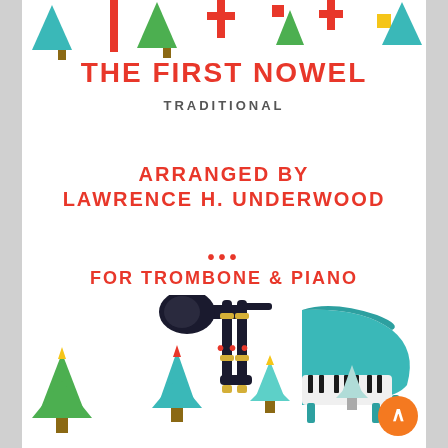[Figure (illustration): Christmas decorations at top: teal/green Christmas trees, red cross/plus shapes, yellow square, scattered holiday icons]
THE FIRST NOWEL
TRADITIONAL
ARRANGED BY
LAWRENCE H. UNDERWOOD
...
FOR TROMBONE & PIANO
...
[Figure (illustration): Trombone illustration on the left side and teal grand piano illustration on the right side]
[Figure (illustration): Bottom row of Christmas tree illustrations in green, teal, and light teal colors with star tops, and orange scroll/button in lower right corner]